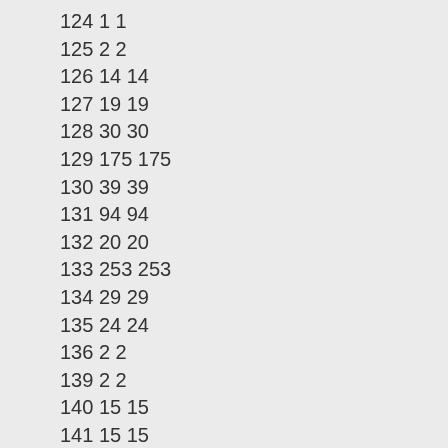124 1 1
125 2 2
126 14 14
127 19 19
128 30 30
129 175 175
130 39 39
131 94 94
132 20 20
133 253 253
134 29 29
135 24 24
136 2 2
139 2 2
140 15 15
141 15 15
142 32 32
143 57 57
144 13 13
145 45 45